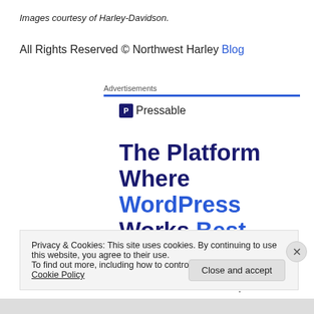Images courtesy of Harley-Davidson.
All Rights Reserved © Northwest Harley Blog
Advertisements
[Figure (logo): Pressable logo with bold P icon and text 'Pressable' followed by dots]
[Figure (screenshot): Pressable advertisement showing 'The Platform Where WordPress Works Best' in bold dark blue and blue text]
Privacy & Cookies: This site uses cookies. By continuing to use this website, you agree to their use.
To find out more, including how to control cookies, see here: Our Cookie Policy
Close and accept